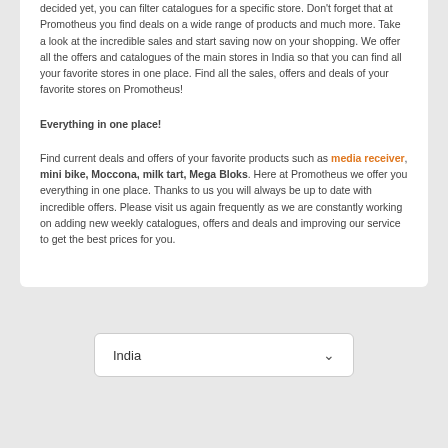decided yet, you can filter catalogues for a specific store. Don't forget that at Promotheus you find deals on a wide range of products and much more. Take a look at the incredible sales and start saving now on your shopping. We offer all the offers and catalogues of the main stores in India so that you can find all your favorite stores in one place. Find all the sales, offers and deals of your favorite stores on Promotheus!
Everything in one place!
Find current deals and offers of your favorite products such as media receiver, mini bike, Moccona, milk tart, Mega Bloks. Here at Promotheus we offer you everything in one place. Thanks to us you will always be up to date with incredible offers. Please visit us again frequently as we are constantly working on adding new weekly catalogues, offers and deals and improving our service to get the best prices for you.
India